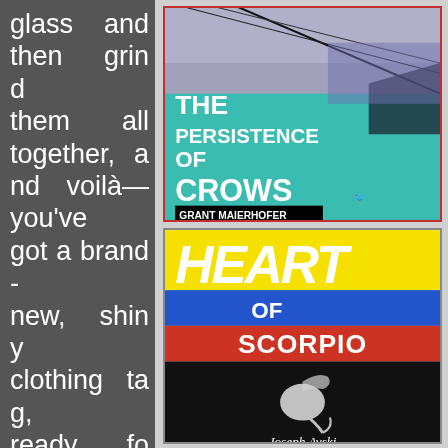glass and then grind them all together, and voilà—you've got a brand-new, shiny clothing tag, ready for your new shirt or sweater, and ready to irritate the back of your
[Figure (illustration): Book cover for 'The Persistence of Crows' by Grant Maierhofer. Features geometric architectural interior with teal and purple tones and white text.]
[Figure (illustration): Book cover for 'Heart of Scorpio' by Joseph Avski. Features yellow top with 'HEART' text, blue and red middle band with 'OF SCORPIO' text, and black bottom with a white scorpion image.]